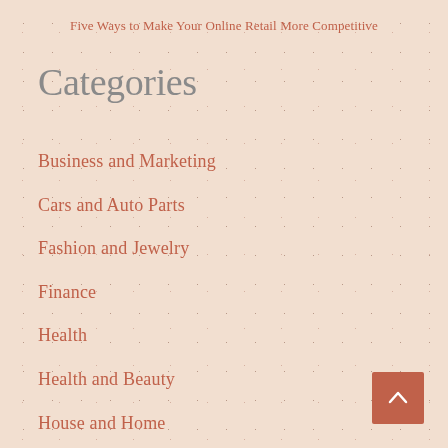Five Ways to Make Your Online Retail More Competitive
Categories
Business and Marketing
Cars and Auto Parts
Fashion and Jewelry
Finance
Health
Health and Beauty
House and Home
Informational
Law
Law & Paralegal
Learning and Training